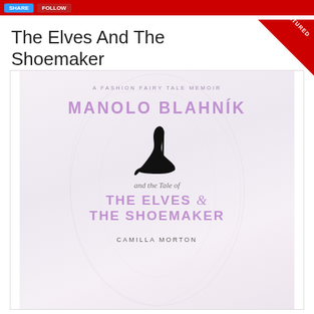The Elves And The Shoemaker
[Figure (illustration): Book cover for 'Manolo Blahník and the Tale of The Elves & The Shoemaker' by Camilla Morton. Subtitle: A Fashion Fairy Tale Memoir. Features a black stiletto high heel shoe silhouette on a pale decorative background with lavender/purple text. A red 'FEATURED' corner banner is displayed at top right.]